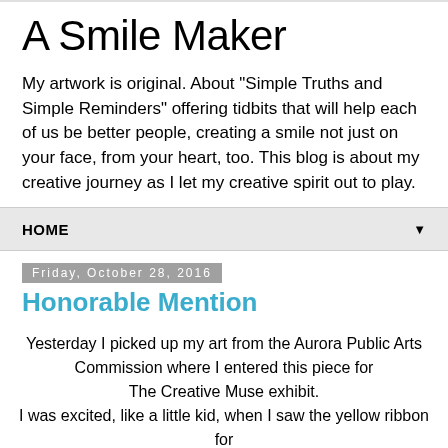A Smile Maker
My artwork is original. About "Simple Truths and Simple Reminders" offering tidbits that will help each of us be better people, creating a smile not just on your face, from your heart, too. This blog is about my creative journey as I let my creative spirit out to play.
HOME
Friday, October 28, 2016
Honorable Mention
Yesterday I picked up my art from the Aurora Public Arts Commission where I entered this piece for
The Creative Muse exhibit.
I was excited, like a little kid, when I saw the yellow ribbon for
Honorable Mention by my art.